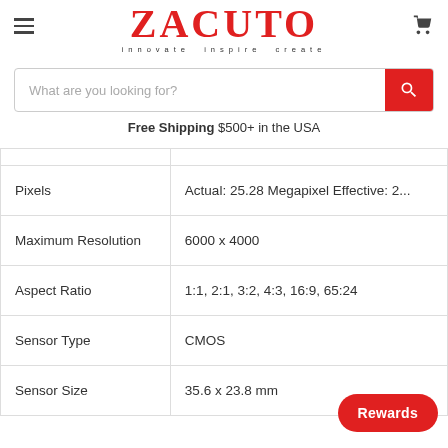[Figure (logo): Zacuto logo with tagline 'innovate inspire create' in red serif font]
What are you looking for?
Free Shipping $500+ in the USA
|  |  |
| --- | --- |
|  |  |
| Pixels | Actual: 25.28 Megapixel Effective: 2... |
| Maximum Resolution | 6000 x 4000 |
| Aspect Ratio | 1:1, 2:1, 3:2, 4:3, 16:9, 65:24 |
| Sensor Type | CMOS |
| Sensor Size | 35.6 x 23.8 mm |
Rewards